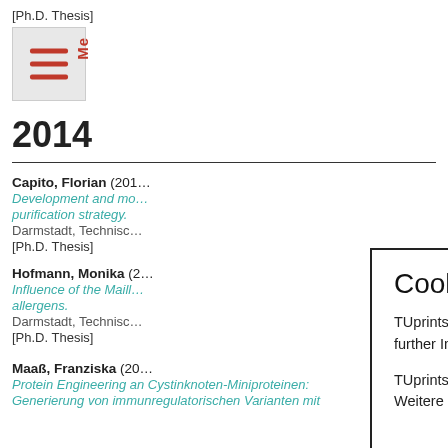[Ph.D. Thesis]
2014
Capito, Florian (201…)
Development and mo… purification strategy.
Darmstadt, Technisc…
[Ph.D. Thesis]
Hofmann, Monika (2…)
Influence of the Maill… allergens.
Darmstadt, Technisc…
[Ph.D. Thesis]
Maaß, Franziska (20…)
Protein Engineering an Cystinknoten-Miniproteinen: Generierung von immunregulatorischen Varianten mit
Cookies
TUprints uses only technically necessary cookies. For further Information see the privacy policy.
TUprints nutzt nur technisch notwendige Cookies. Weitere Informationen in der Datenschutzerklärung.
Okay